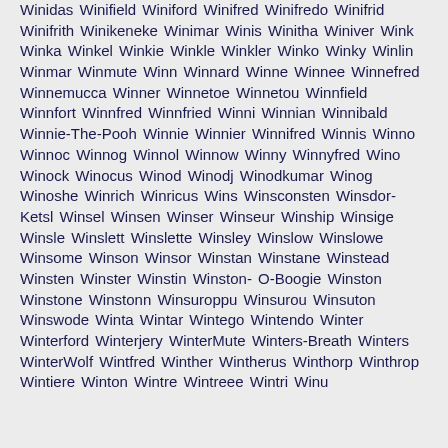Winidas Winifield Winiford Winifred Winifredo Winifrid Winifrith Winikeneke Winimar Winis Winitha Winiver Wink Winka Winkel Winkie Winkle Winkler Winko Winky Winlin Winmar Winmute Winn Winnard Winne Winnee Winnefred Winnemucca Winner Winnetoe Winnetou Winnfield Winnfort Winnfred Winnfried Winni Winnian Winnibald Winnie-The-Pooh Winnie Winnier Winnifred Winnis Winno Winnoc Winnog Winnol Winnow Winny Winnyfred Wino Winock Winocus Winod Winodj Winodkumar Winog Winoshe Winrich Winricus Wins Winsconsten Winsdor-Ketsl Winsel Winsen Winser Winseur Winship Winsige Winsle Winslett Winslette Winsley Winslow Winslowe Winsome Winson Winsor Winstan Winstane Winstead Winsten Winster Winstin Winston- O-Boogie Winston Winstone Winstonn Winsuroppu Winsurou Winsuton Winswode Winta Wintar Wintego Wintendo Winter Winterford Winterjery WinterMute Winters-Breath Winters WinterWolf Wintfred Winther Wintherus Winthorp Winthrop Wintiere Winton Wintre Wintreee Wintri Winu